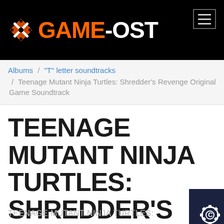GAME-OST
Albums / "T" letter soundtracks / Teenage Mutant Ninja Turtles: Shredder's Revenge Original Game Soundtrack
TEENAGE MUTANT NINJA TURTLES: SHREDDER'S REVENGE ORIGINAL GAME SOUNDTRACK
TEENAGE MUTANT NINJA TURTLES: